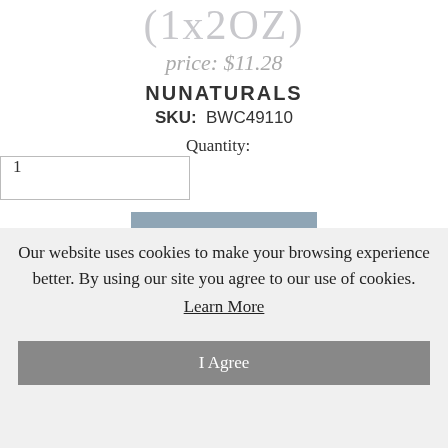(1x2OZ)
price: $11.28
NUNATURALS
SKU:  BWC49110
Quantity: 1
ADD
Dietary Supplement. Concentrated Extract. NuNaturals uses our highly concentrated NuStevia extract and should not be confused with less potent powdered herbs or extracts. NuNaturals uses plant-based natural flavors that help to make our Stevia products the best-tasting ones available. NuStevia brand Stevia is a natural plant extract
Our website uses cookies to make your browsing experience better. By using our site you agree to our use of cookies.
Learn More
I Agree